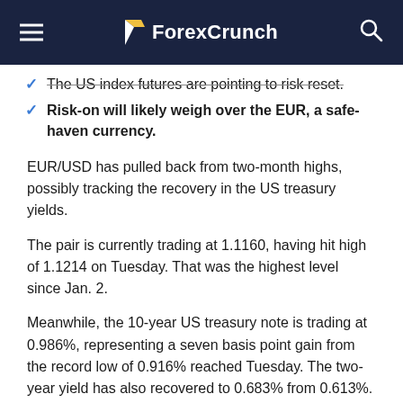ForexCrunch
The US index futures are pointing to risk reset.
Risk-on will likely weigh over the EUR, a safe-haven currency.
EUR/USD has pulled back from two-month highs, possibly tracking the recovery in the US treasury yields.
The pair is currently trading at 1.1160, having hit high of 1.1214 on Tuesday. That was the highest level since Jan. 2.
Meanwhile, the 10-year US treasury note is trading at 0.986%, representing a seven basis point gain from the record low of 0.916% reached Tuesday. The two-year yield has also recovered to 0.683% from 0.613%.
Yields had tanked during Tuesday'sNorth American trading hours, sending the US dollar lower across the board in